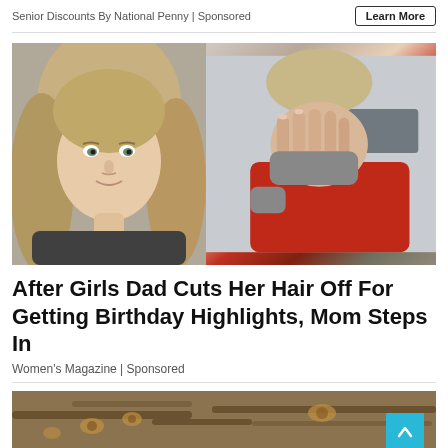Senior Discounts By National Penny | Sponsored
Learn More
[Figure (photo): Two photos side by side: left shows a young blonde girl taking a selfie in a car; right shows a person in a red jacket covering their face with their hands in distress outdoors.]
After Girls Dad Cuts Her Hair Off For Getting Birthday Highlights, Mom Steps In
Women's Magazine | Sponsored
[Figure (photo): Partial image of a leopard or cheetah in a tree, partially visible at bottom of page.]